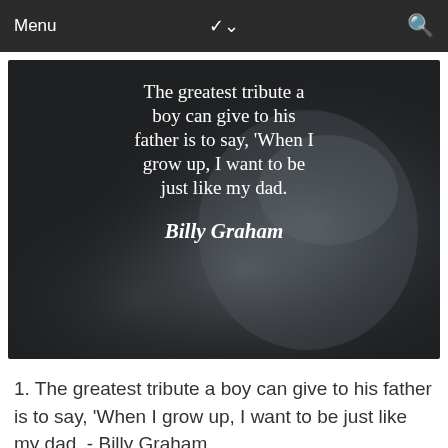Menu
[Figure (photo): Dark atmospheric photo of a child wearing a polka-dot hat, with overlaid white text quoting Billy Graham: 'The greatest tribute a boy can give to his father is to say, When I grow up, I want to be just like my dad.' attributed to Billy Graham]
1. The greatest tribute a boy can give to his father is to say, 'When I grow up, I want to be just like my dad. - Billy Graham